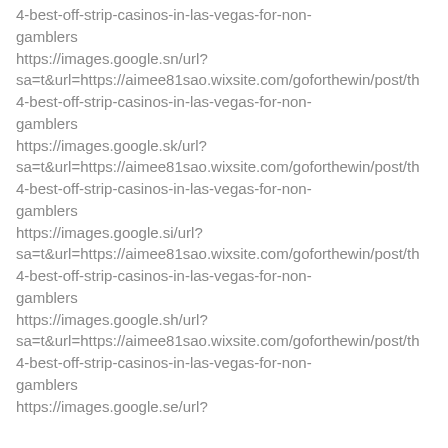4-best-off-strip-casinos-in-las-vegas-for-non-gamblers
https://images.google.sn/url?sa=t&url=https://aimee81sao.wixsite.com/goforthewin/post/th4-best-off-strip-casinos-in-las-vegas-for-non-gamblers
https://images.google.sk/url?sa=t&url=https://aimee81sao.wixsite.com/goforthewin/post/th4-best-off-strip-casinos-in-las-vegas-for-non-gamblers
https://images.google.si/url?sa=t&url=https://aimee81sao.wixsite.com/goforthewin/post/th4-best-off-strip-casinos-in-las-vegas-for-non-gamblers
https://images.google.sh/url?sa=t&url=https://aimee81sao.wixsite.com/goforthewin/post/th4-best-off-strip-casinos-in-las-vegas-for-non-gamblers
https://images.google.se/url?